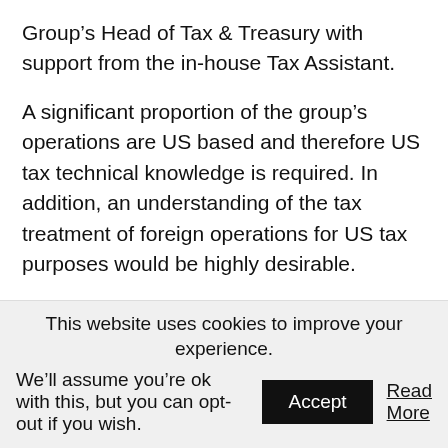Group's Head of Tax & Treasury with support from the in-house Tax Assistant.
A significant proportion of the group's operations are US based and therefore US tax technical knowledge is required. In addition, an understanding of the tax treatment of foreign operations for US tax purposes would be highly desirable.
This website uses cookies to improve your experience.
We'll assume you're ok with this, but you can opt-out if you wish. Accept Read More